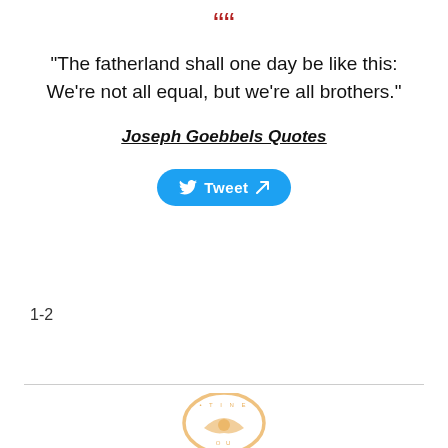[Figure (other): Large red decorative opening quotation marks]
"The fatherland shall one day be like this: We're not all equal, but we're all brothers."
Joseph Goebbels Quotes
[Figure (other): Tweet button with Twitter bird icon and external link icon]
1-2
[Figure (logo): Partially visible circular logo with orange/gold coloring at bottom of page]